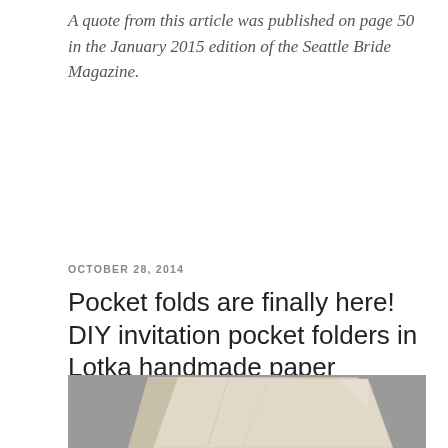A quote from this article was published on page 50 in the January 2015 edition of the Seattle Bride Magazine.
OCTOBER 28, 2014
Pocket folds are finally here! DIY invitation pocket folders in Lotka handmade paper
[Figure (photo): Photo of two cream/beige handmade paper pocket folders, one overlapping the other, against a grey background.]